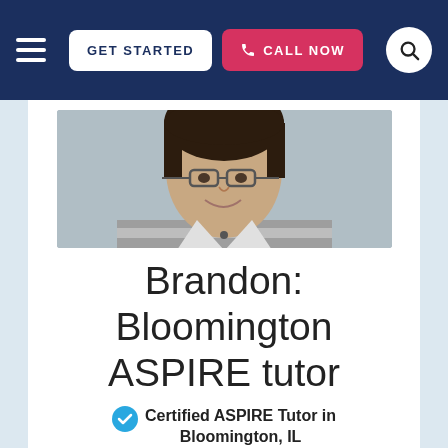GET STARTED | CALL NOW
[Figure (photo): Headshot photo of Brandon, a young man with dark hair, glasses, and a striped shirt, smiling at the camera.]
Brandon: Bloomington ASPIRE tutor
Certified ASPIRE Tutor in Bloomington, IL